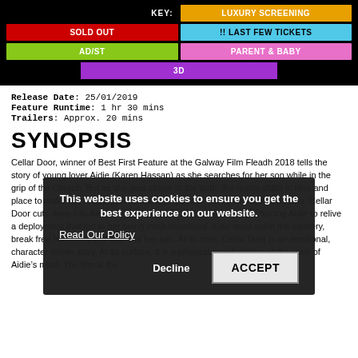[Figure (infographic): KEY legend showing cinema ticket type color codes: LUXURY SCREENING (orange), SOLD OUT (red), !! LAST FEW TICKETS (cyan), AD/ST (green), PARENT & BABY (pink), 3D (purple)]
Release Date: 25/01/2019
Feature Runtime: 1 hr 30 mins
Trailers: Approx. 20 mins
SYNOPSIS
Cellar Door, winner of Best First Feature at the Galway Film Fleadh 2018 tells the story of young lover Aidie (Karen Hassan) as she searches for her son while in the grip of the Church. But as she gets closer to the truth, the reality shifts in time and place to make her retelling. With a unique point of view on a familiar trauma, Cellar Door cuts deep into Aidie's subjective experience. Something is forcing Aidie to relive a deployment that led to her being institutionalised. Aidie must solve the mystery, break free from the cycle and find her son. At its core, Cellar Door is an emotional, character driven story. At its surface, it is a physical manifestation of the state of Aidie's mind. The film is the
This website uses cookies to ensure you get the best experience on our website.
Read Our Policy
Decline   ACCEPT